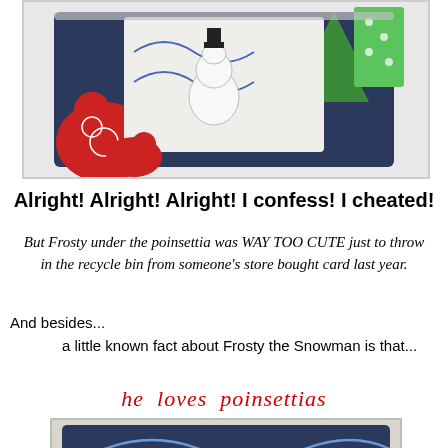[Figure (photo): Christmas handmade card craft photo showing a decorated card with navy blue border, red and green holiday motifs, glitter, and festive embellishments, photographed at an angle on a light background.]
Alright! Alright! Alright! I confess! I cheated!
But Frosty under the poinsettia was WAY TOO CUTE just to throw in the recycle bin from someone's store bought card last year.
And besides...
      a little known fact about Frosty the Snowman is that...
he loves poinsettias
[Figure (photo): Close-up photo of a handmade Christmas card featuring a large red poinsettia flower with silver snowflake embellishments, blue scroll decorations, and a 'Joy' tag, on a decorated background.]